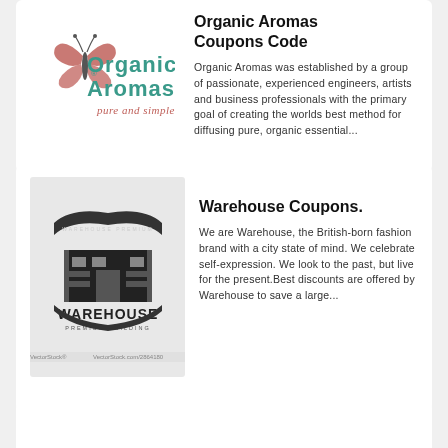[Figure (logo): Organic Aromas logo with butterfly and teal text, tagline 'pure and simple']
Organic Aromas Coupons Code
Organic Aromas was established by a group of passionate, experienced engineers, artists and business professionals with the primary goal of creating the worlds best method for diffusing pure, organic essential...
[Figure (logo): Warehouse Premium Building black and white logo on light grey background, with VectorStock watermark]
Warehouse Coupons.
We are Warehouse, the British-born fashion brand with a city state of mind. We celebrate self-expression. We look to the past, but live for the present.Best discounts are offered by Warehouse to save a large...